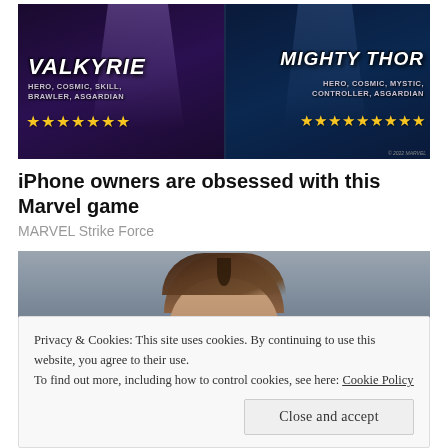[Figure (screenshot): Marvel Strike Force game advertisement showing two characters: Valkyrie (Hero, Cosmic, Skill, Brawler, Asgardian) with 7 stars on the left, and Mighty Thor (Hero, Cosmic, Mystic, Controller, Asgardian) with 9 stars on the right, on a dark fantasy background.]
iPhone owners are obsessed with this Marvel game
MARVEL Strike Force
[Figure (photo): Photo of a woman's face/head from above, with brown/dark hair, partial view, against grey background. Red lips visible at bottom.]
Privacy & Cookies: This site uses cookies. By continuing to use this website, you agree to their use.
To find out more, including how to control cookies, see here: Cookie Policy
Close and accept